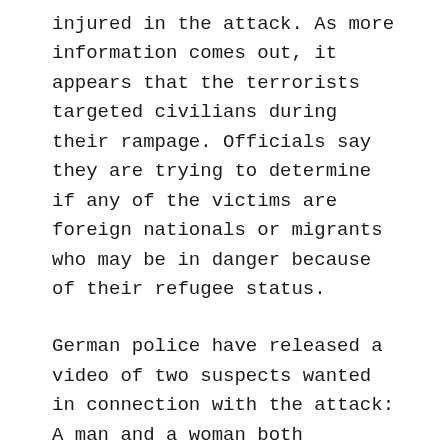injured in the attack. As more information comes out, it appears that the terrorists targeted civilians during their rampage. Officials say they are trying to determine if any of the victims are foreign nationals or migrants who may be in danger because of their refugee status.
German police have released a video of two suspects wanted in connection with the attack: A man and a woman both believed to be in their twenties or early thirties. The terror group ISIS has claimed responsibility for the attack, although there is no evidence yet to support this claim. The situation in Berlin remains tense as authorities work hard to track down those responsible for what was clearly an attempt at mass murder.